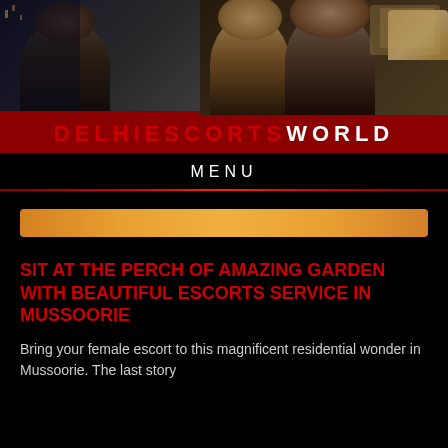[Figure (photo): Two composite photos: left shows a woman with dark hair in dark setting; right shows two women sitting, one blonde, one brunette, with a light-colored headboard in background]
DELHIESCORTS WORLD
MENU
[Figure (other): Orange horizontal banner bar]
SIT AT THE PERCH OF AMAZING GARDEN WITH BEAUTIFUL ESCORTS SERVICE IN MUSSOORIE
Bring your female escort to this magnificent residential wonder in Mussoorie. The last story